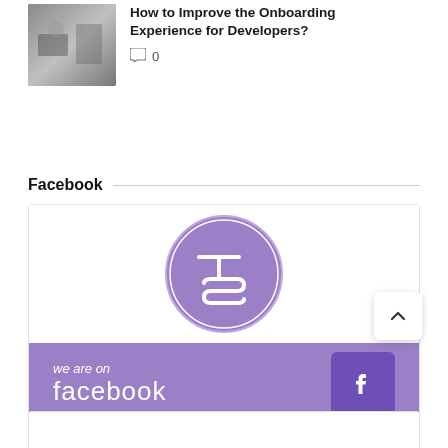[Figure (photo): Thumbnail image of person at computer/laptop, dark/grey tones]
How to Improve the Onboarding Experience for Developers?
0 (comment count)
Facebook
[Figure (illustration): Facebook promotional widget: white top area with purple circular TS logo, purple bottom area with text 'we are on facebook' and Facebook icon]
[Figure (other): Back to top arrow button (chevron up)]